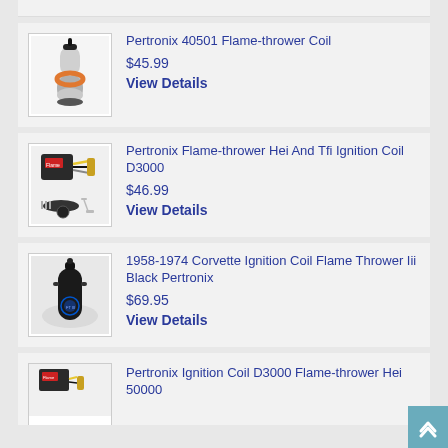[Figure (photo): Partial product image at top (cropped from previous item)]
Pertronix 40501 Flame-thrower Coil
$45.99
View Details
[Figure (photo): Pertronix Flame-thrower HEI and TFI ignition kit with components including module, distributor cap and hardware]
Pertronix Flame-thrower Hei And Tfi Ignition Coil D3000
$46.99
View Details
[Figure (photo): Black cylindrical ignition coil with blue Flame Thrower III logo, 1958-1974 Corvette]
1958-1974 Corvette Ignition Coil Flame Thrower Iii Black Pertronix
$69.95
View Details
[Figure (photo): Pertronix ignition coil product, partial view at bottom]
Pertronix Ignition Coil D3000 Flame-thrower Hei 50000